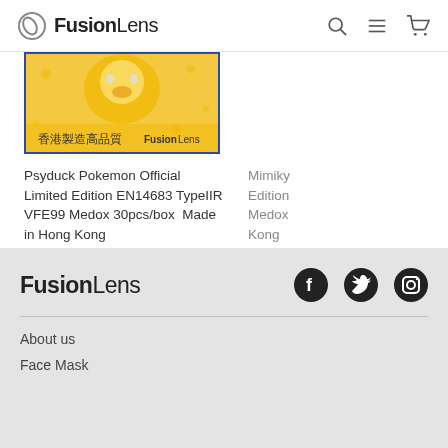FusionLens
[Figure (photo): Psyduck Pokemon product image on yellow background with Chinese text 香港製造高品質 and FusionLens branding]
Psyduck Pokemon Official Limited Edition EN14683 TypeIIR VFE99 Medox 30pcs/box  Made in Hong Kong
HK$196.00
Mimiky... Edition... Medox... Kong
HK$196...
FusionLens — About us, Face Mask — Facebook, Twitter, Instagram icons